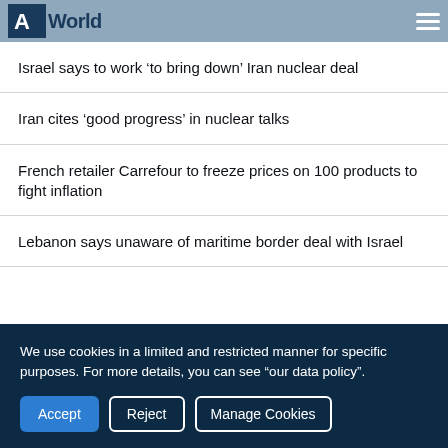Al Jazeera World
Israel says to work ‘to bring down’ Iran nuclear deal
Iran cites ‘good progress’ in nuclear talks
French retailer Carrefour to freeze prices on 100 products to fight inflation
Lebanon says unaware of maritime border deal with Israel
We use cookies in a limited and restricted manner for specific purposes. For more details, you can see "our data policy".